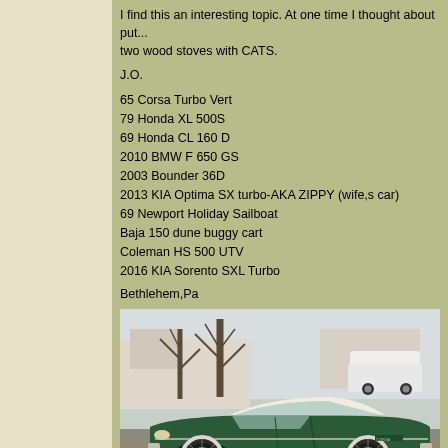I find this an interesting topic. At one time I thought about put... two wood stoves with CATS.
J.O.
65 Corsa Turbo Vert
79 Honda XL 500S
69 Honda CL 160 D
2010 BMW F 650 GS
2003 Bounder 36D
2013 KIA Optima SX turbo-AKA ZIPPY (wife,s car)
69 Newport Holiday Sailboat
Baja 150 dune buggy cart
Coleman HS 500 UTV
2016 KIA Sorento SXL Turbo
Bethlehem,Pa
[Figure (photo): A dark green 1965 Corvair Corsa Turbo convertible with a white soft top, parked on a residential street with bare winter trees and a white SUV visible in the background.]